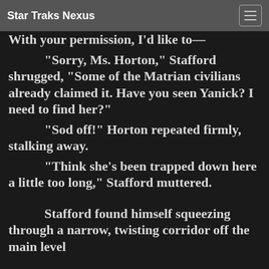Star Traks Nexus
With your permission, I’d like to— “Sorry, Ms. Horton,” Stafford shrugged, “Some of the Matrian civilians already claimed it. Have you seen Yanick? I need to find her?” “Sod off!” Horton repeated firmly, stalking away. “Think she’s been trapped down here a little too long,” Stafford muttered. Stafford found himself squeezing through a narrow, twisting corridor off the main level